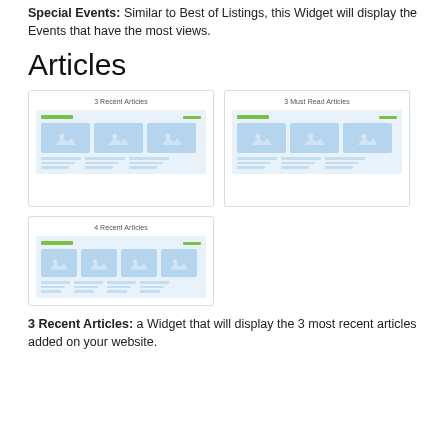Special Events: Similar to Best of Listings, this Widget will display the Events that have the most views.
Articles
[Figure (screenshot): Widget preview showing '3 Recent Articles' layout with three image thumbnails and text lines below]
[Figure (screenshot): Widget preview showing '3 Must Read Articles' layout with three image thumbnails and text lines below]
[Figure (screenshot): Widget preview showing '4 Recent Articles' layout with four image thumbnails and text lines below]
3 Recent Articles: a Widget that will display the 3 most recent articles added on your website.